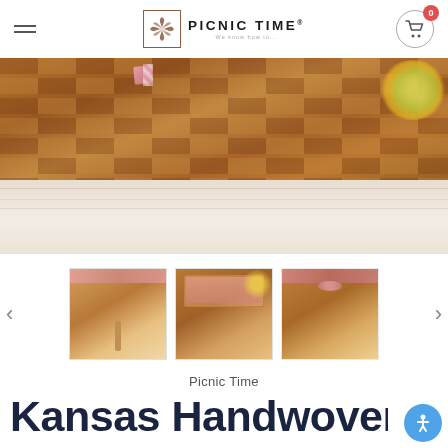PICNIC TIME
[Figure (photo): Close-up of a brown woven wicker picnic basket on a white wood surface, with pink gingham ribbon accents and yellow flowers visible in background]
[Figure (photo): Thumbnail 1: Woven picnic basket with pink lining and handle, with yellow flowers]
[Figure (photo): Thumbnail 2: Woven picnic basket set with open lid showing pink gingham lining]
[Figure (photo): Thumbnail 3: Woven picnic basket with pink bow decoration]
Picnic Time
Kansas Handwoven